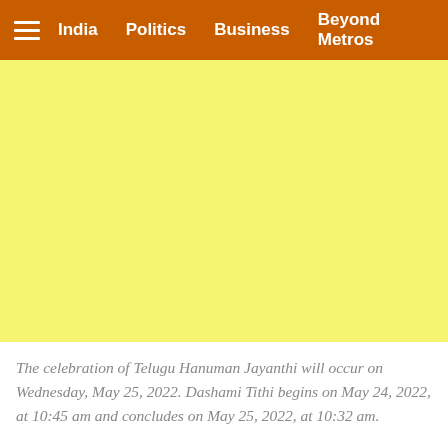India  Politics  Business  Beyond Metros
[Figure (other): Yellow advertisement placeholder block]
The celebration of Telugu Hanuman Jayanthi will occur on Wednesday, May 25, 2022. Dashami Tithi begins on May 24, 2022, at 10:45 am and concludes on May 25, 2022, at 10:32 am.